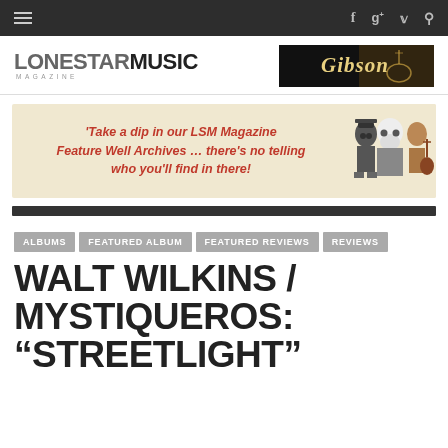LONESTAR MUSIC MAGAZINE — navigation bar
[Figure (logo): LonestarMusic Magazine logo — LONESTAR in grey, MUSIC in dark, MAGAZINE in small caps below]
[Figure (photo): Gibson guitar brand banner with guitar imagery on black background]
[Figure (infographic): Promotional banner: 'Take a dip in our LSM Magazine Feature Well Archives … there's no telling who you'll find in there!' with cartoon musician illustrations on tan background]
ALBUMS
FEATURED ALBUM
FEATURED REVIEWS
REVIEWS
WALT WILKINS / MYSTIQUEROS: "STREETLIGHT"